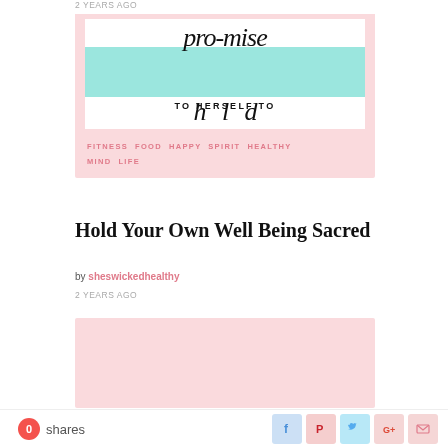2 YEARS AGO
[Figure (illustration): Pink-background card with stylized cursive 'promise' text overlapping a teal watercolor stripe, 'TO HERSELF TO' in uppercase, and partial cursive letters below. Tags: FITNESS FOOD HAPPY SPIRIT HEALTHY MIND LIFE in pink uppercase letters.]
Hold Your Own Well Being Sacred
by sheswickedhealthy
2 YEARS AGO
[Figure (illustration): Pink background card, partially visible at bottom of page.]
0 shares